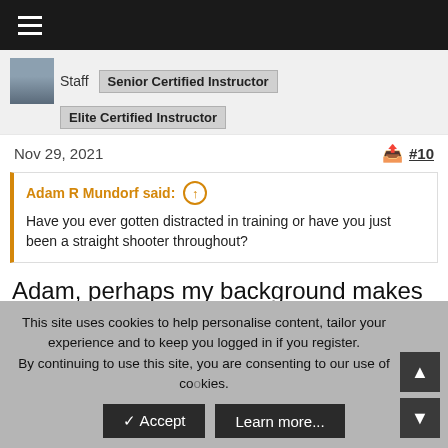Staff  Senior Certified Instructor  Elite Certified Instructor
Nov 29, 2021  #10
Adam R Mundorf said: ↑ Have you ever gotten distracted in training or have you just been a straight shooter throughout?
Adam, perhaps my background makes a difference here. As a musician, practicing and improving are the work of my life; I approach my lifting the same way.
This site uses cookies to help personalise content, tailor your experience and to keep you logged in if you register. By continuing to use this site, you are consenting to our use of cookies.